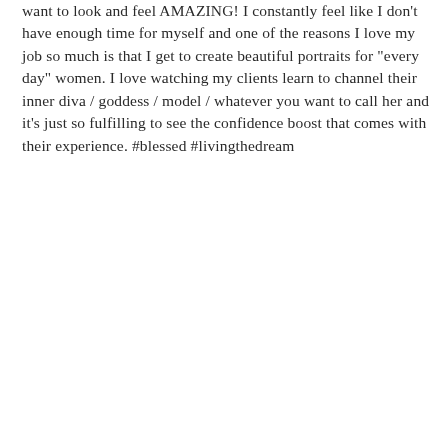want to look and feel AMAZING! I constantly feel like I don't have enough time for myself and one of the reasons I love my job so much is that I get to create beautiful portraits for "every day" women. I love watching my clients learn to channel their inner diva / goddess / model / whatever you want to call her and it's just so fulfilling to see the confidence boost that comes with their experience. #blessed #livingthedream